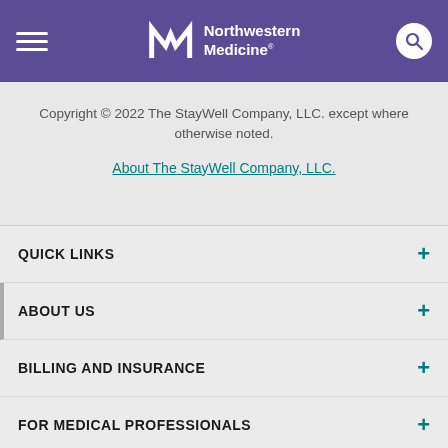Northwestern Medicine
Copyright © 2022 The StayWell Company, LLC. except where otherwise noted.
About The StayWell Company, LLC.
QUICK LINKS
ABOUT US
BILLING AND INSURANCE
FOR MEDICAL PROFESSIONALS